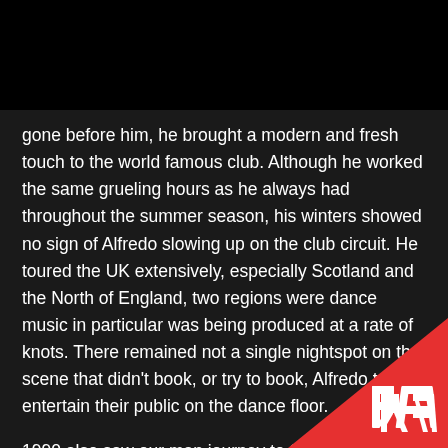gone before him, he brought a modern and fresh touch to the world famous club. Although he worked the same grueling hours as he always had throughout the summer season, his winters showed no sign of Alfredo slowing up on the club circuit. He toured the UK extensively, especially Scotland and the North of England, two regions were dance music in particular was being produced at a rate of knots. There remained not a single nightspot on the scene that didn't book, or try to book, Alfredo to entertain their public on the dance floor.
1990 also saw our man journey to Singapore to inaugurate and work as Resident DJ for three months at the hottest new club in Singapore- the Zouk Cl...
[Figure (logo): RA (Resident Advisor) logo in white on red triangle background, bottom-right corner]